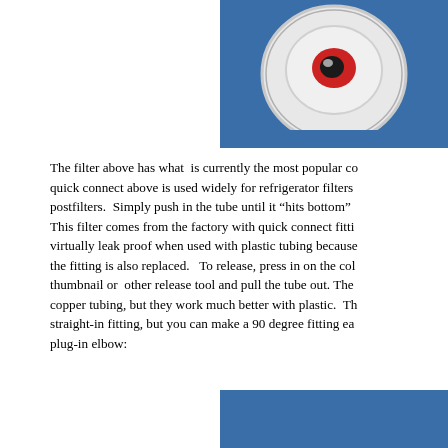[Figure (photo): Close-up photo of a white quick-connect fitting on a blue background, showing a circular fitting with a red and black center indicator]
The filter above has what is currently the most popular co… quick connect above is used widely for refrigerator filters postfilters. Simply push in the tube until it "hits bottom" This filter comes from the factory with quick connect fitti virtually leak proof when used with plastic tubing because the fitting is also replaced. To release, press in on the col thumbnail or other release tool and pull the tube out. The copper tubing, but they work much better with plastic. Th straight-in fitting, but you can make a 90 degree fitting ea plug-in elbow:
[Figure (photo): Partial photo showing a blue background, bottom portion cropped]